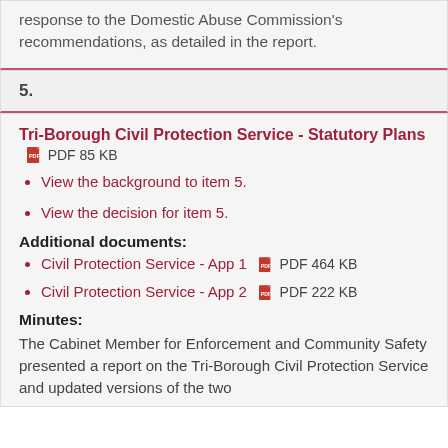response to the Domestic Abuse Commission's recommendations, as detailed in the report.
5.
Tri-Borough Civil Protection Service - Statutory Plans  PDF 85 KB
View the background to item 5.
View the decision for item 5.
Additional documents:
Civil Protection Service - App 1  PDF 464 KB
Civil Protection Service - App 2  PDF 222 KB
Minutes:
The Cabinet Member for Enforcement and Community Safety presented a report on the Tri-Borough Civil Protection Service and updated versions of the two